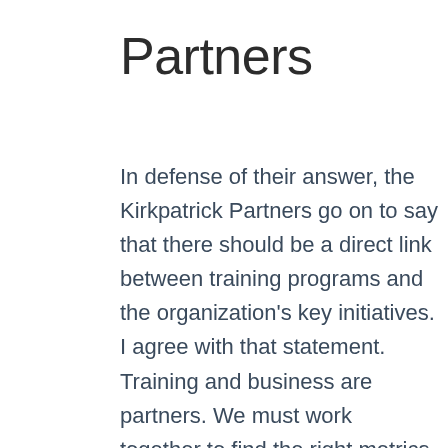Partners
In defense of their answer, the Kirkpatrick Partners go on to say that there should be a direct link between training programs and the organization's key initiatives. I agree with that statement. Training and business are partners. We must work together to find the right metrics to measure and to create training the moves the business forward. Again, I believe this link is the only way to determine the right metric, and therefore, the only way to determine the training impact.